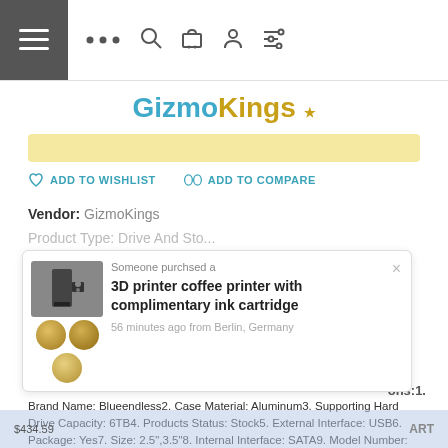[Figure (screenshot): E-commerce website navigation bar with hamburger menu button, dots icon, search, cart, user and filter icons]
[Figure (logo): GizmoKings logo in teal and gold text with crown decoration]
[Figure (other): Yellow/gold horizontal banner]
ADD TO WISHLIST   ADD TO COMPARE
Vendor: GizmoKings
Product Type: Drive And Sto...
[Figure (screenshot): Purchase notification popup: 'Someone purchsed a 3D printer coffee printer with complimentary ink cartridge, 56 minutes ago from Berlin, Germany']
Brand Name: Blueendless2. Case Material: Aluminum3. Supporting Hard Drive Capacity: 6TB4. Products Status: Stock5. External Interface: USB6. Package: Yes7. Size: 2.5",3.5"8. Internal Interface: SATA9. Model Number: BS-U35WF10. External Interface: RJ45 /